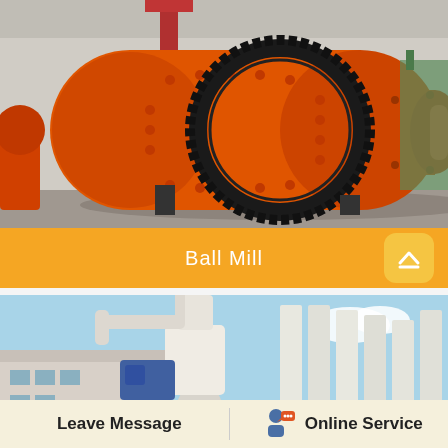[Figure (photo): Large orange industrial ball mill machine with black gear ring, photographed in a factory/workshop setting. The cylindrical orange drum with studs and a large spur gear is mounted on supports.]
Ball Mill
[Figure (photo): Industrial milling equipment - white vertical mill/grinder machine with pipes and ducting, and a row of white cylindrical tanks or silos in the background against a blue sky.]
Leave Message
Online Service